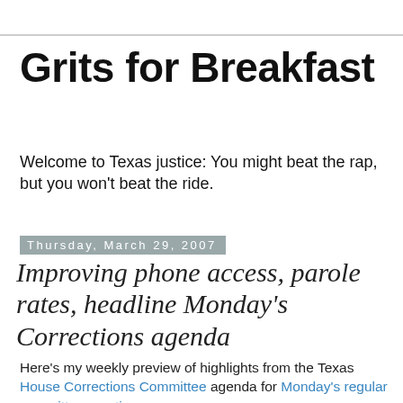Grits for Breakfast
Welcome to Texas justice: You might beat the rap, but you won't beat the ride.
Thursday, March 29, 2007
Improving phone access, parole rates, headline Monday's Corrections agenda
Here's my weekly preview of highlights from the Texas House Corrections Committee agenda for Monday's regular committee meeting:
Expanding prisoner phone access
Reps Pat Haggerty (R-El Paso) and Terri Hodge (D-Dallas) have both filed companion bills to Sen. Leticia Van de Putte's SB 1580 - HB 1888 and HB 43, respectively. The bill would require TDCJ to put out a request for bids to give prisoners